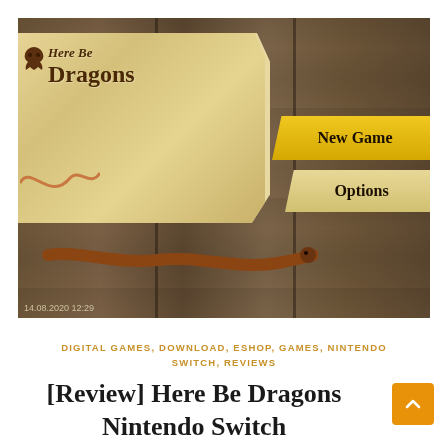[Figure (screenshot): Screenshot of the Here Be Dragons game title screen showing a parchment banner with the game's logo 'Here Be Dragons', a wooden snake prop, menu buttons 'New Game' and 'Options' on a wooden plank background. Timestamp reads 14.08.2020 12:29.]
DIGITAL GAMES, DOWNLOAD, ESHOP, GAMES, NINTENDO SWITCH, REVIEWS
[Review] Here Be Dragons Nintendo Switch